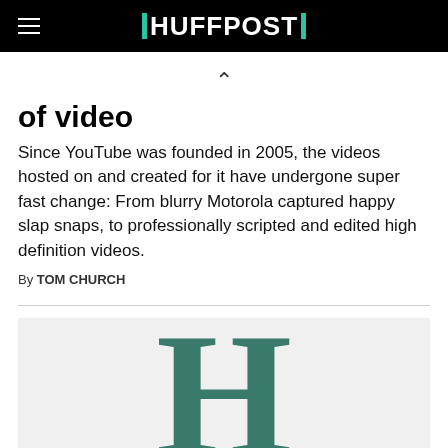HUFFPOST
of video
Since YouTube was founded in 2005, the videos hosted on and created for it have undergone super fast change: From blurry Motorola captured happy slap snaps, to professionally scripted and edited high definition videos.
By TOM CHURCH
[Figure (logo): Large teal/dark green letter H on light grey background, HuffPost logo initial]